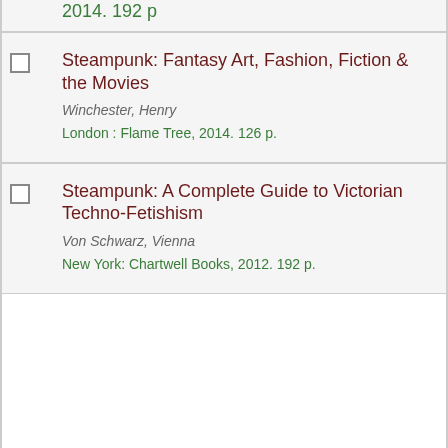2014. 192 p
Steampunk: Fantasy Art, Fashion, Fiction & the Movies
Winchester, Henry
London : Flame Tree, 2014. 126 p.
Steampunk: A Complete Guide to Victorian Techno-Fetishism
Von Schwarz, Vienna
New York: Chartwell Books, 2012. 192 p.